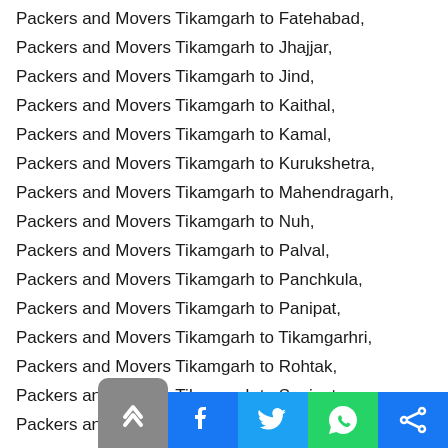Packers and Movers Tikamgarh to Fatehabad,
Packers and Movers Tikamgarh to Jhajjar,
Packers and Movers Tikamgarh to Jind,
Packers and Movers Tikamgarh to Kaithal,
Packers and Movers Tikamgarh to Kamal,
Packers and Movers Tikamgarh to Kurukshetra,
Packers and Movers Tikamgarh to Mahendragarh,
Packers and Movers Tikamgarh to Nuh,
Packers and Movers Tikamgarh to Palval,
Packers and Movers Tikamgarh to Panchkula,
Packers and Movers Tikamgarh to Panipat,
Packers and Movers Tikamgarh to Tikamgarhri,
Packers and Movers Tikamgarh to Rohtak,
Packers and Movers Tikamgarh to Sonipat,
Packers and Movers Tikamgarh to Yamunagar,